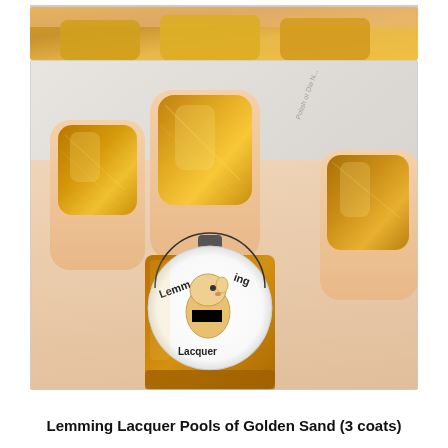[Figure (photo): Partial photo strip at top showing golden nail polish on fingers, cropped top portion]
[Figure (photo): Close-up photo of a hand with golden shimmer nail polish applied on nails, with a Lemming Lacquer nail polish bottle visible in the lower portion of the image showing the brand's cartoon lemming logo]
Lemming Lacquer Pools of Golden Sand (3 coats)